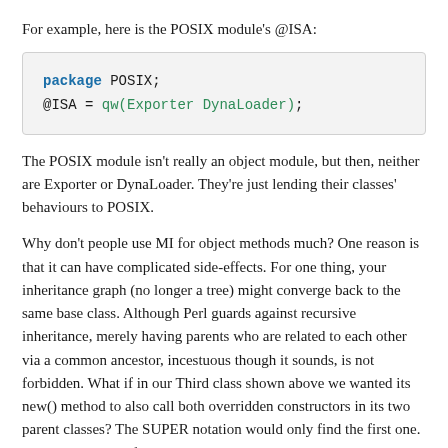For example, here is the POSIX module's @ISA:
package POSIX;
@ISA = qw(Exporter DynaLoader);
The POSIX module isn't really an object module, but then, neither are Exporter or DynaLoader. They're just lending their classes' behaviours to POSIX.
Why don't people use MI for object methods much? One reason is that it can have complicated side-effects. For one thing, your inheritance graph (no longer a tree) might converge back to the same base class. Although Perl guards against recursive inheritance, merely having parents who are related to each other via a common ancestor, incestuous though it sounds, is not forbidden. What if in our Third class shown above we wanted its new() method to also call both overridden constructors in its two parent classes? The SUPER notation would only find the first one. Also, what about if the Alpha and Beta classes both had a common ancestor, like Nought?